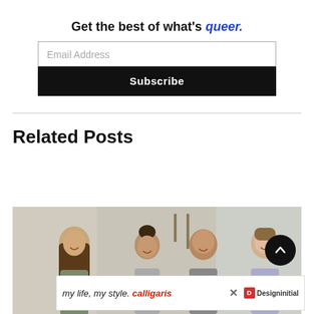Get the best of what's queer.
Email Address
Subscribe
Related Posts
[Figure (photo): Group photo of four people in an indoor setting; a person with long hair, a woman, a bald man, and a man on the right.]
[Figure (photo): Advertisement banner: 'my life, my style. | calligaris' with Designinitial logo and close button.]